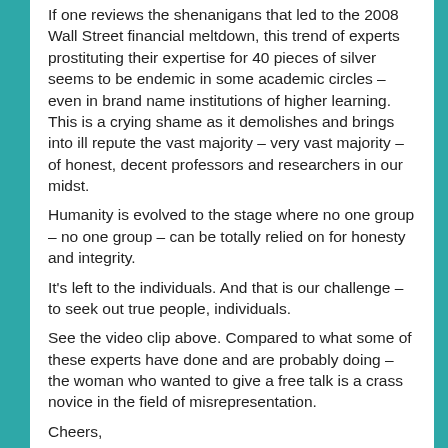If one reviews the shenanigans that led to the 2008 Wall Street financial meltdown, this trend of experts prostituting their expertise for 40 pieces of silver seems to be endemic in some academic circles – even in brand name institutions of higher learning. This is a crying shame as it demolishes and brings into ill repute the vast majority – very vast majority – of honest, decent professors and researchers in our midst.
Humanity is evolved to the stage where no one group – no one group – can be totally relied on for honesty and integrity.
It's left to the individuals. And that is our challenge – to seek out true people, individuals.
See the video clip above. Compared to what some of these experts have done and are probably doing – the woman who wanted to give a free talk is a crass novice in the field of misrepresentation.
Cheers,
Eric